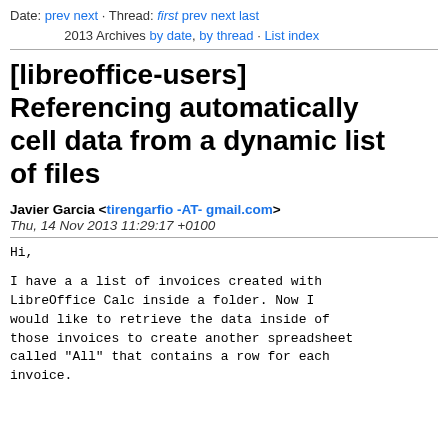Date: prev next · Thread: first prev next last 2013 Archives by date, by thread · List index
[libreoffice-users] Referencing automatically cell data from a dynamic list of files
Javier Garcia <tirengarfio -AT- gmail.com>
Thu, 14 Nov 2013 11:29:17 +0100
Hi,

I have a a list of invoices created with LibreOffice Calc inside a folder. Now I would like to retrieve the data inside of those invoices to create another spreadsheet called "All" that contains a row for each invoice.